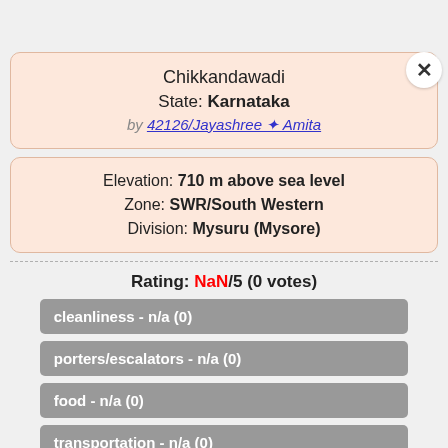Chikkandawadi
State: Karnataka
by 42126/Jayashree ✦ Amita
Elevation: 710 m above sea level
Zone: SWR/South Western
Division: Mysuru (Mysore)
Rating: NaN/5 (0 votes)
cleanliness - n/a (0)
porters/escalators - n/a (0)
food - n/a (0)
transportation - n/a (0)
lodging - n/a (0)
railfanning - n/a (0)